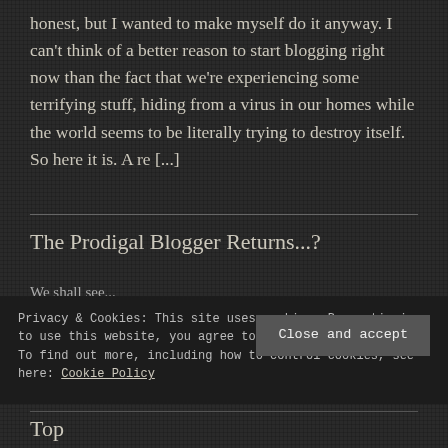honest, but I wanted to make myself do it anyway. I can't think of a better reason to start blogging right now than the fact that we're experiencing some terrifying stuff, hiding from a virus in our homes while the world seems to be literally trying to destroy itself. So here it is. A re [...]
The Prodigal Blogger Returns...?
We shall see...
Privacy & Cookies: This site uses cookies. By continuing to use this website, you agree to their use.
To find out more, including how to control cookies, see here: Cookie Policy
Close and accept
Top